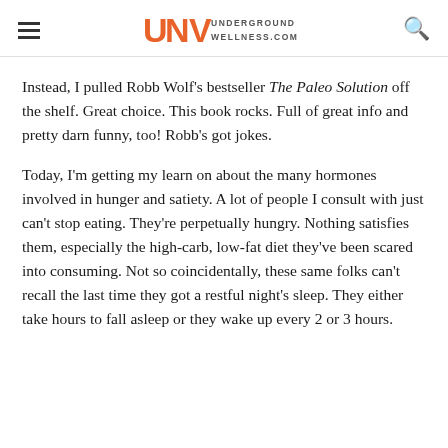Underground Wellness - undergroundwellness.com
Instead, I pulled Robb Wolf's bestseller The Paleo Solution off the shelf. Great choice. This book rocks. Full of great info and pretty darn funny, too! Robb's got jokes.
Today, I'm getting my learn on about the many hormones involved in hunger and satiety. A lot of people I consult with just can't stop eating. They're perpetually hungry. Nothing satisfies them, especially the high-carb, low-fat diet they've been scared into consuming. Not so coincidentally, these same folks can't recall the last time they got a restful night's sleep. They either take hours to fall asleep or they wake up every 2 or 3 hours.